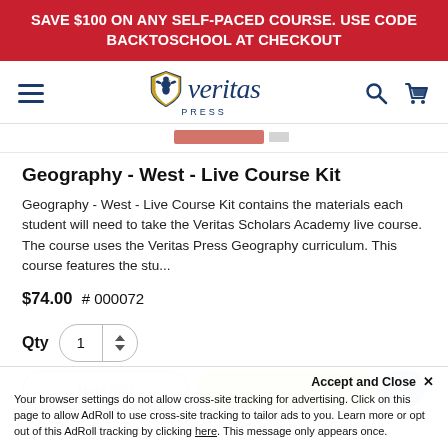SAVE $100 ON ANY SELF-PACED COURSE. USE CODE BACKTOSCHOOL AT CHECKOUT
[Figure (logo): Veritas Press logo with shield icon and italic text 'veritas PRESS']
Geography - West - Live Course Kit
Geography - West - Live Course Kit contains the materials each student will need to take the Veritas Scholars Academy live course. The course uses the Veritas Press Geography curriculum. This course features the stu...
$74.00  # 000072
Qty  1
More Info
Accept and Close ✕
Your browser settings do not allow cross-site tracking for advertising. Click on this page to allow AdRoll to use cross-site tracking to tailor ads to you. Learn more or opt out of this AdRoll tracking by clicking here. This message only appears once.